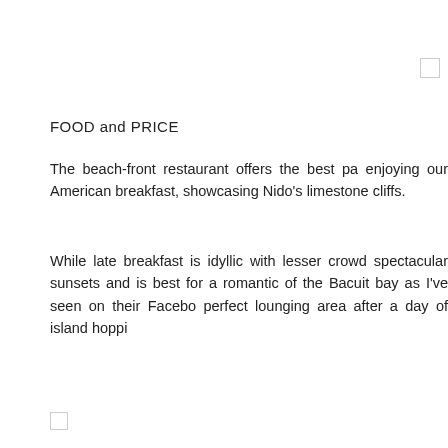FOOD and PRICE
The beach-front restaurant offers the best pa enjoying our American breakfast, showcasing Nido's limestone cliffs.
While late breakfast is idyllic with lesser crowd spectacular sunsets and is best for a romantic of the Bacuit bay as I've seen on their Facebo perfect lounging area after a day of island hoppi